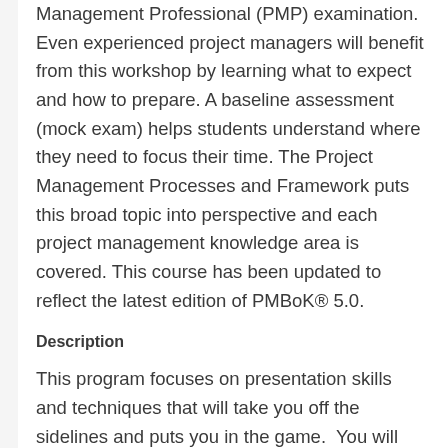Management Professional (PMP) examination. Even experienced project managers will benefit from this workshop by learning what to expect and how to prepare. A baseline assessment (mock exam) helps students understand where they need to focus their time. The Project Management Processes and Framework puts this broad topic into perspective and each project management knowledge area is covered. This course has been updated to reflect the latest edition of PMBoK® 5.0.
Description
This program focuses on presentation skills and techniques that will take you off the sidelines and puts you in the game.  You will have power packed presentations that motivate, persuade, and hold the attention of the group.